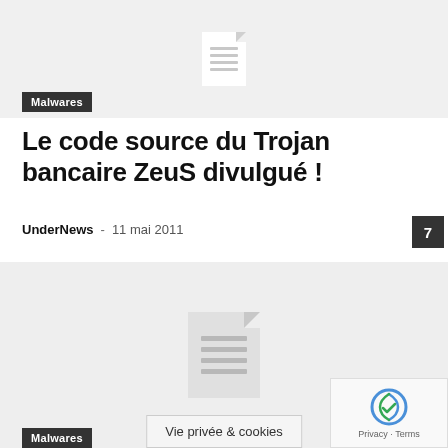[Figure (illustration): Grey placeholder image block with a small white document icon in the center, representing a missing or loading image]
Malwares
Le code source du Trojan bancaire ZeuS divulgué !
UnderNews  -  11 mai 2011
[Figure (illustration): Grey placeholder image block with a larger grey document icon in the center, representing a missing or loading image]
Malwares
Vie privée & cookies